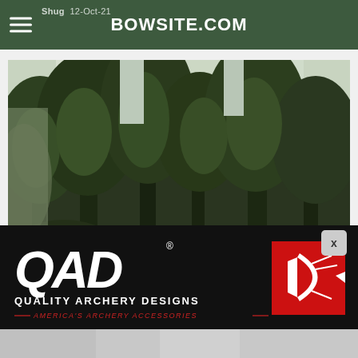BOWSITE.COM
nt  Shug  12-Oct-21
[Figure (photo): Dense forest of tall evergreen/conifer trees viewed from below, dark green foliage against a light sky, forest understory visible]
[Figure (logo): QAD - Quality Archery Designs advertisement banner on black background. White italic bold QAD text with registered trademark symbol, red square box with white arrow/archery logo, text reads QUALITY ARCHERY DESIGNS and AMERICA'S ARCHERY ACCESSORIES in italic red text with decorative lines]